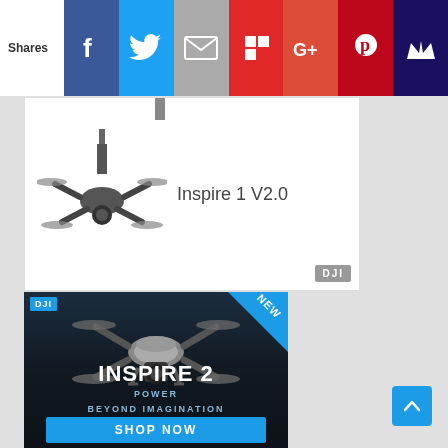Shares | Facebook | Twitter | Email | Flipboard | Google+ | Pinterest | Crown
[Figure (screenshot): DJI Inspire 1 V2.0 product advertisement showing drone image with text 'Inspire 1 V2.0' and DJI logo badge]
[Figure (screenshot): DJI Inspire 2 advertisement banner with drone image, DJI logo, 'NEW' corner badge, text 'INSPIRE 2', 'POWER BEYOND IMAGINATION', and 'SHOP NOW' button]